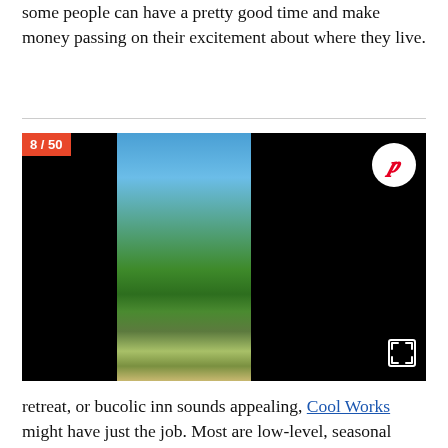some people can have a pretty good time and make money passing on their excitement about where they live.
[Figure (photo): Slideshow image 8 of 50 showing wooden cabin/lodge buildings with green trees and blue sky, outdoor picnic tables on a grassy area. Includes Pinterest share button and fullscreen expand button. An ad overlay shows at the bottom with counter 'Ad 1 of 1 (0:30)' and 'Up Next - Video of the Day: - The Beauty in Monotony'.]
retreat, or bucolic inn sounds appealing, Cool Works might have just the job. Most are low-level, seasonal